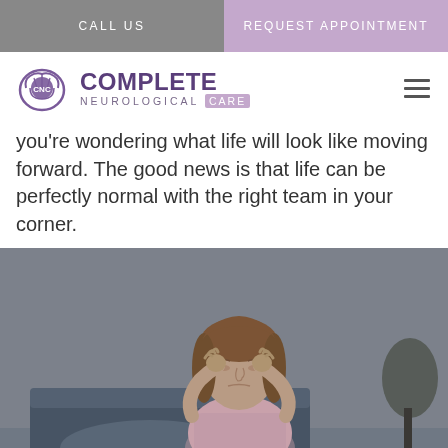CALL US | REQUEST APPOINTMENT
[Figure (logo): Complete Neurological Care logo with CNC brain icon]
you're wondering what life will look like moving forward. The good news is that life can be perfectly normal with the right team in your corner.
[Figure (photo): Woman sitting on bed holding her head in her hands, appearing to have a headache or migraine, wearing a pink shirt]